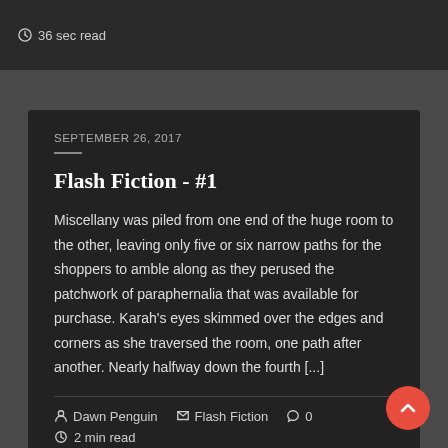36 sec read
SEPTEMBER 26, 2017
Flash Fiction - #1
Miscellany was piled from one end of the huge room to the other, leaving only five or six narrow paths for the shoppers to amble along as they perused the patchwork of paraphernalia that was available for purchase. Karah's eyes skimmed over the edges and corners as she traversed the room, one path after another. Nearly halfway down the fourth [...]
Dawn Penguin   Flash Fiction   0   2 min read